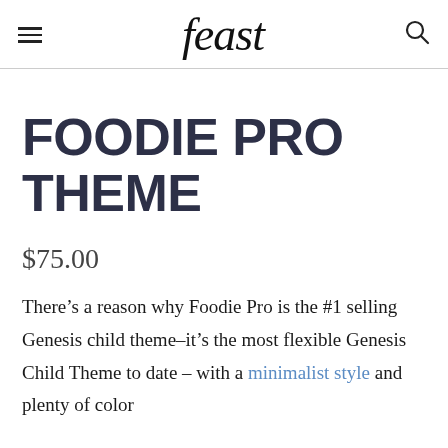feast
FOODIE PRO THEME
$75.00
There’s a reason why Foodie Pro is the #1 selling Genesis child theme–it’s the most flexible Genesis Child Theme to date – with a minimalist style and plenty of color